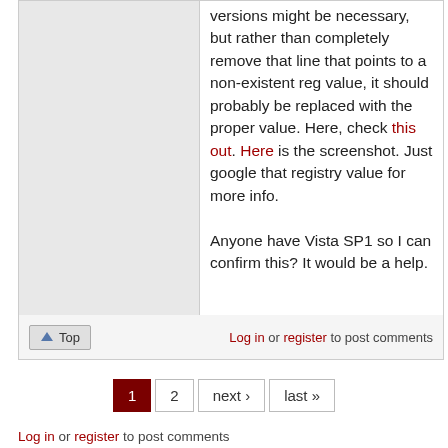versions might be necessary, but rather than completely remove that line that points to a non-existent reg value, it should probably be replaced with the proper value. Here, check this out. Here is the screenshot. Just google that registry value for more info.
Anyone have Vista SP1 so I can confirm this? It would be a help.
Top
Log in or register to post comments
1 2 next › last »
Log in or register to post comments